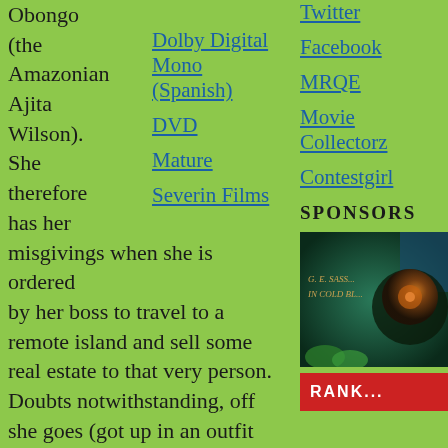Obongo (the Amazonian Ajita Wilson). She therefore has her misgivings when she is ordered by her boss to travel to a remote island and sell some real estate to that very person. Doubts notwithstanding, off she goes (got up in an outfit I've never seen a real estate agent wear before) to play Jonathan Harker to Obongo's Dracula. On the island, she falls
Dolby Digital Mono (Spanish)
DVD
Mature
Severin Films
Twitter
Facebook
MRQE
Movie Collectorz
Contestgirl
SPONSORS
[Figure (photo): Sponsor advertisement image with dark green/teal background, circular lens/orb element, text reading 'G. E. SASS... IN COLD BL...']
[Figure (other): Red sponsor banner partially visible at bottom]